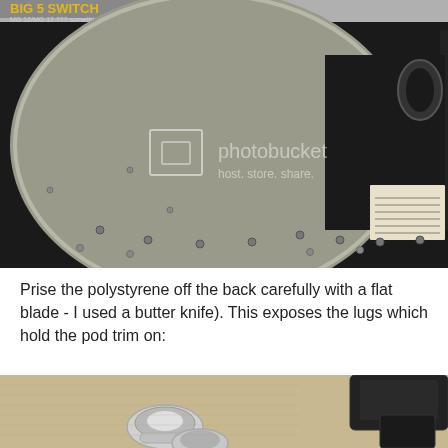[Figure (photo): Back of a speaker cabinet or audio equipment showing polystyrene backing partially removed, with a black panel and a label sticker visible. Photobucket watermark overlay. Photographed from above.]
Prise the polystyrene off the back carefully with a flat blade - I used a butter knife). This exposes the lugs which hold the pod trim on:
[Figure (photo): Close-up photo of chrome/metal lugs or clips on a carpeted surface, with a dark piece of trim to the upper right.]